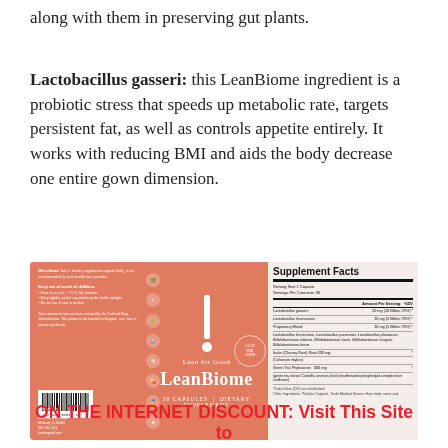along with them in preserving gut plants.
Lactobacillus gasseri: this LeanBiome ingredient is a probiotic stress that speeds up metabolic rate, targets persistent fat, as well as controls appetite entirely. It works with reducing BMI and aids the body decrease one entire gown dimension.
[Figure (photo): LeanBiome supplement product label on a salmon/coral colored box showing supplement facts panel, logo, icons, and barcode.]
ON THE INTERNET DISCOUNT: Visit This Site to